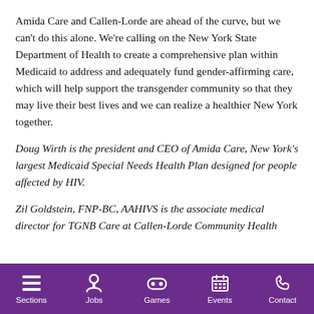Amida Care and Callen-Lorde are ahead of the curve, but we can't do this alone. We're calling on the New York State Department of Health to create a comprehensive plan within Medicaid to address and adequately fund gender-affirming care, which will help support the transgender community so that they may live their best lives and we can realize a healthier New York together.
Doug Wirth is the president and CEO of Amida Care, New York's largest Medicaid Special Needs Health Plan designed for people affected by HIV.
Zil Goldstein, FNP-BC, AAHIVS is the associate medical director for TGNB Care at Callen-Lorde Community Health C...
Sections | Jobs | Games | Events | Contact